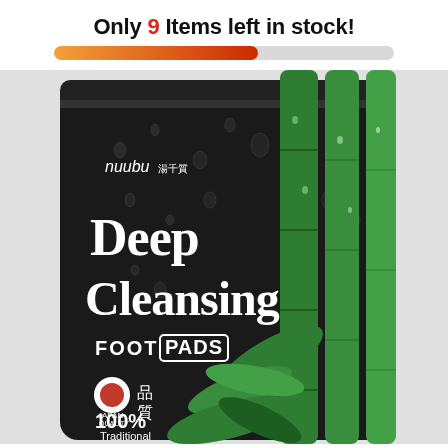Only 9 Items left in stock!
[Figure (infographic): Orange-to-red gradient progress bar indicating approximately 60% stock remaining out of full capacity]
[Figure (photo): Product photo of Nuubu Deep Cleansing Foot Pads black foil package with bamboo plants and water droplets on the packaging, showing brand name nuubu, product name Deep Cleansing FOOT PADS, Japan quality seal, and 100% Traditional Wisdom text]